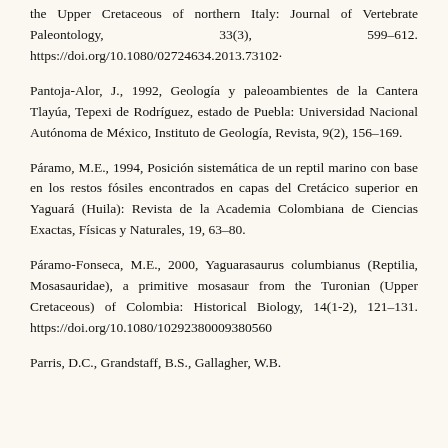the Upper Cretaceous of northern Italy: Journal of Vertebrate Paleontology, 33(3), 599–612. https://doi.org/10.1080/02724634.2013.73102·
Pantoja-Alor, J., 1992, Geología y paleoambientes de la Cantera Tlayúa, Tepexi de Rodríguez, estado de Puebla: Universidad Nacional Autónoma de México, Instituto de Geología, Revista, 9(2), 156–169.
Páramo, M.E., 1994, Posición sistemática de un reptil marino con base en los restos fósiles encontrados en capas del Cretácico superior en Yaguará (Huila): Revista de la Academia Colombiana de Ciencias Exactas, Físicas y Naturales, 19, 63–80.
Páramo-Fonseca, M.E., 2000, Yaguarasaurus columbianus (Reptilia, Mosasauridae), a primitive mosasaur from the Turonian (Upper Cretaceous) of Colombia: Historical Biology, 14(1-2), 121–131. https://doi.org/10.1080/10292380009380560
Parris, D.C., Grandstaff, B.S., Gallagher, W.B.